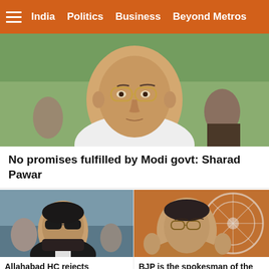India  Politics  Business  Beyond Metros
[Figure (photo): Photo of Sharad Pawar, an elderly Indian politician wearing glasses and a white shirt, outdoors with greenery in background]
No promises fulfilled by Modi govt: Sharad Pawar
[Figure (photo): Photo of a man wearing sunglasses and a black jacket in a crowd, related to Mukhtar Ansari's MLA story]
Allahabad HC rejects anticipatory bail plea of Mukhtar Ansari's MLA
[Figure (photo): Photo of a BJP spokesperson gesturing with hands in front of a BJP symbol background]
BJP is the spokesman of the people of Bengal : Nadda